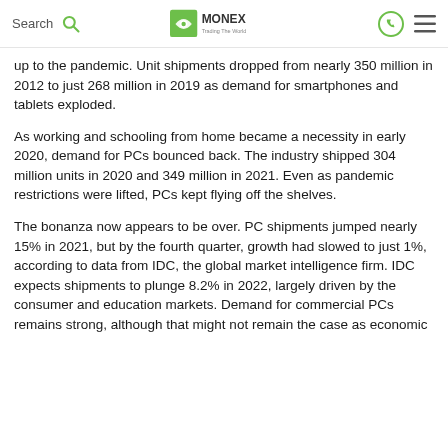Search | MONEX Trading The World
up to the pandemic. Unit shipments dropped from nearly 350 million in 2012 to just 268 million in 2019 as demand for smartphones and tablets exploded.
As working and schooling from home became a necessity in early 2020, demand for PCs bounced back. The industry shipped 304 million units in 2020 and 349 million in 2021. Even as pandemic restrictions were lifted, PCs kept flying off the shelves.
The bonanza now appears to be over. PC shipments jumped nearly 15% in 2021, but by the fourth quarter, growth had slowed to just 1%, according to data from IDC, the global market intelligence firm. IDC expects shipments to plunge 8.2% in 2022, largely driven by the consumer and education markets. Demand for commercial PCs remains strong, although that might not remain the case as economic